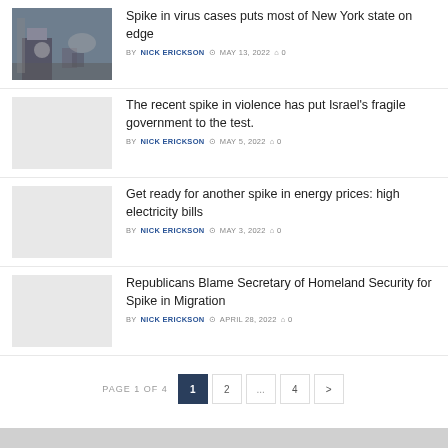[Figure (photo): Street food vendor scene with people]
Spike in virus cases puts most of New York state on edge
BY NICK ERICKSON  MAY 13, 2022  0
[Figure (photo): Blank/light gray placeholder image]
The recent spike in violence has put Israel's fragile government to the test.
BY NICK ERICKSON  MAY 5, 2022  0
[Figure (photo): Blank/light gray placeholder image]
Get ready for another spike in energy prices: high electricity bills
BY NICK ERICKSON  MAY 3, 2022  0
[Figure (photo): Blank/light gray placeholder image]
Republicans Blame Secretary of Homeland Security for Spike in Migration
BY NICK ERICKSON  APRIL 28, 2022  0
PAGE 1 OF 4  1  2  ...  4  >